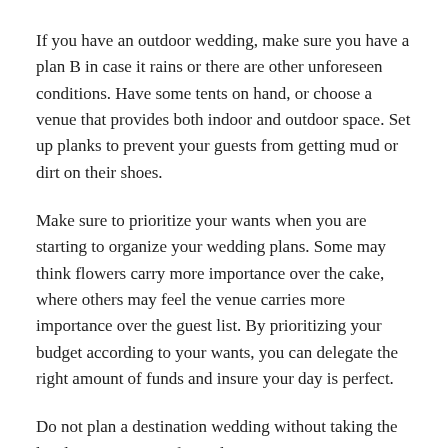If you have an outdoor wedding, make sure you have a plan B in case it rains or there are other unforeseen conditions. Have some tents on hand, or choose a venue that provides both indoor and outdoor space. Set up planks to prevent your guests from getting mud or dirt on their shoes.
Make sure to prioritize your wants when you are starting to organize your wedding plans. Some may think flowers carry more importance over the cake, where others may feel the venue carries more importance over the guest list. By prioritizing your budget according to your wants, you can delegate the right amount of funds and insure your day is perfect.
Do not plan a destination wedding without taking the legal requirements of your location into account.